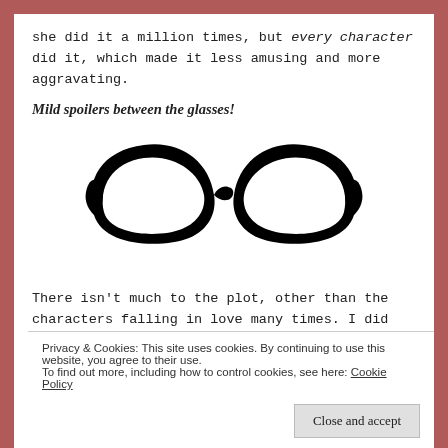she did it a million times, but every character did it, which made it less amusing and more aggravating.
Mild spoilers between the glasses!
[Figure (illustration): Black silhouette of cat-eye glasses, viewed from the front. The glasses have two large oval lenses with pointed outer corners, a narrow bridge connecting them, and tapered arms extending to each side.]
There isn’t much to the plot, other than the characters falling in love many times. I did
Privacy & Cookies: This site uses cookies. By continuing to use this website, you agree to their use.
To find out more, including how to control cookies, see here: Cookie Policy
Close and accept